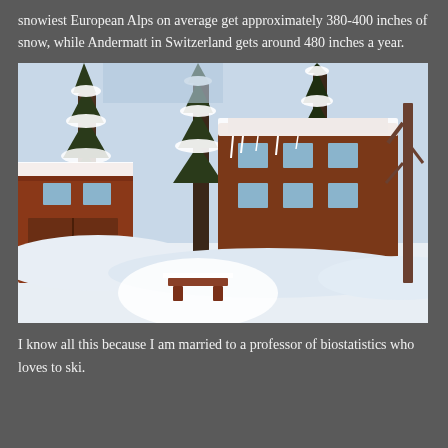snowiest European Alps on average get approximately 380-400 inches of snow, while Andermatt in Switzerland gets around 480 inches a year.
[Figure (photo): A snow-covered winter scene with wooden lodge buildings and snow-laden evergreen trees, heavily blanketed in deep snow.]
I know all this because I am married to a professor of biostatistics who loves to ski.